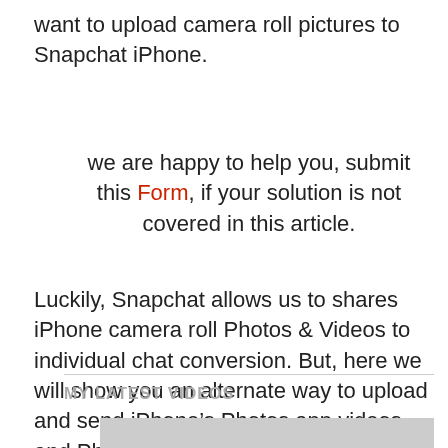want to upload camera roll pictures to Snapchat iPhone.
we are happy to help you, submit this Form, if your solution is not covered in this article.
Luckily, Snapchat allows us to shares iPhone camera roll Photos & Videos to individual chat conversion. But, here we will show you an alternate way to upload and send iPhone’s Photos app videos and Photos on Snapchat very easily with the help of the third-party app.
MY LATEST VIDEOS